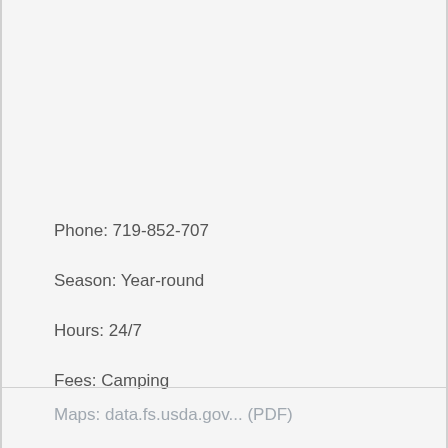Phone: 719-852-707
Season: Year-round
Hours: 24/7
Fees: Camping
Maps: data.fs.usda.gov... (PDF)